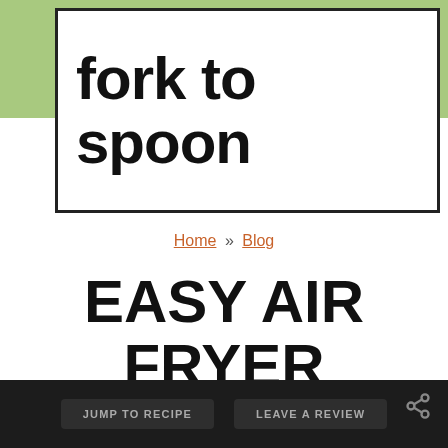[Figure (logo): Fork to Spoon logo — bold black text on white background inside a bordered box, set against a sage green header bar]
Home » Blog
EASY AIR FRYER CRAB CAKES
By Laurie
[Figure (infographic): Three sage-green circular social share buttons: Facebook, Twitter, Pinterest]
[Figure (infographic): Teal heart/save button with count 78]
JUMP TO RECIPE   LEAVE A REVIEW